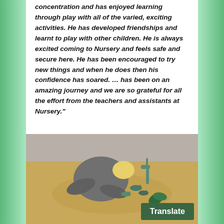concentration and has enjoyed learning through play with all of the varied, exciting activities.  He has developed friendships and learnt to play with other children.  He is always excited coming to Nursery and feels safe and secure here.   He has been encouraged to try new things and when he does then his confidence has soared.  ... has been on an amazing journey and we are so grateful for all the effort from the teachers and assistants at Nursery."
[Figure (photo): A young child leaning over a sandbox playing with toy dinosaur figures arranged in the sand.]